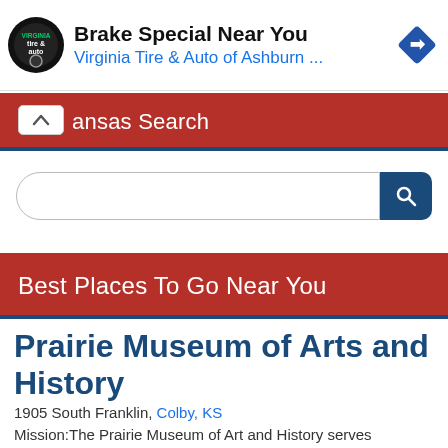[Figure (screenshot): Ad banner: Virginia Tire & Auto logo (circular black badge), text 'Brake Special Near You' and 'Virginia Tire & Auto of Ashburn ...' with a blue navigation diamond icon on the right]
ansas Search
[Figure (screenshot): Search input box with a dark blue search button containing a magnifying glass icon]
Best Places To Go Near You
Prairie Museum of Arts and History
1905 South Franklin, Colby, KS
Mission:The Prairie Museum of Art and History serves